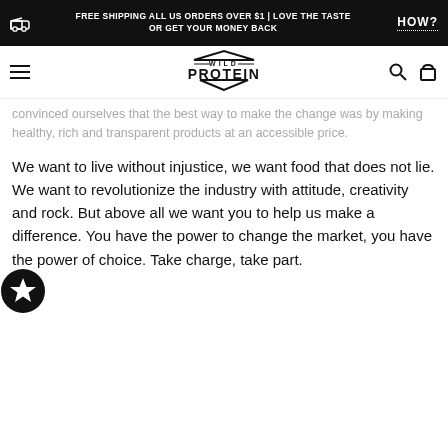FREE SHIPPING ALL US ORDERS OVER $1 | LOVE THE TASTE OR GET YOUR MONEY BACK  HOW?
[Figure (logo): Wild Protein brand logo with hamburger menu, search and cart icons forming a navigation bar]
convinced ourselves that the best way to make the change was by making healthy, rich and transparent products at an accessible price.
We want to live without injustice, we want food that does not lie. We want to revolutionize the industry with attitude, creativity and rock. But above all we want you to help us make a difference. You have the power to change the market, you have the power of choice. Take charge, take part.